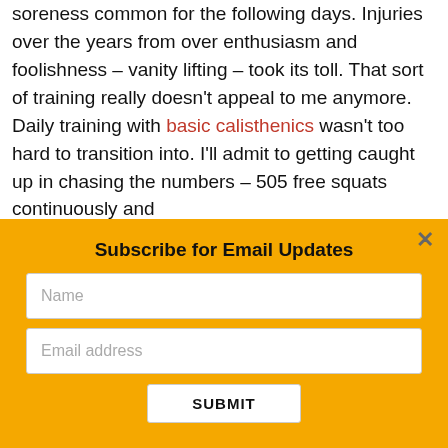soreness common for the following days. Injuries over the years from over enthusiasm and foolishness – vanity lifting – took its toll. That sort of training really doesn't appeal to me anymore. Daily training with basic calisthenics wasn't too hard to transition into. I'll admit to getting caught up in chasing the numbers – 505 free squats continuously and
Subscribe for Email Updates
Name
Email address
SUBMIT